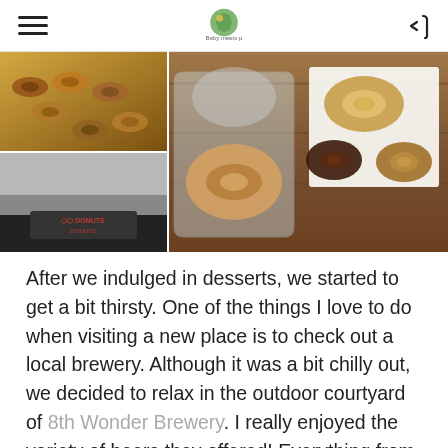Baby meets p [logo]
[Figure (photo): Collage of four donut-related photos: top-left shows a tray of assorted donuts, bottom-left shows an Holtop Donuts shop sign exterior, and the large right panel shows donuts in a clear plastic container and three donuts on parchment paper on a wooden surface.]
After we indulged in desserts, we started to get a bit thirsty. One of the things I love to do when visiting a new place is to check out a local brewery. Although it was a bit chilly out, we decided to relax in the outdoor courtyard of 8th Wonder Brewery. I really enjoyed the variety of beers they offered! Everything from IPAs to sours. For